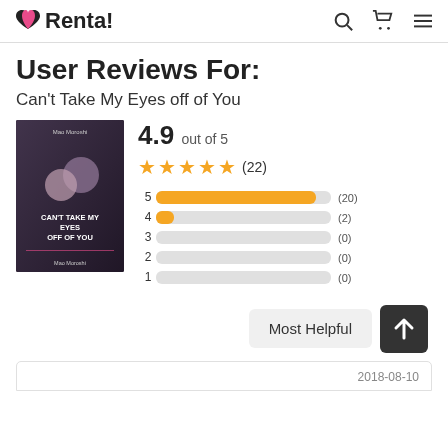❤Renta!
User Reviews For:
Can't Take My Eyes off of You
[Figure (other): Book cover for 'Can't Take My Eyes off of You' manga by Mao Moroshi showing two characters in an embrace]
4.9 out of 5
★★★★★ (22)
[Figure (bar-chart): Rating distribution]
Most Helpful
2018-08-10